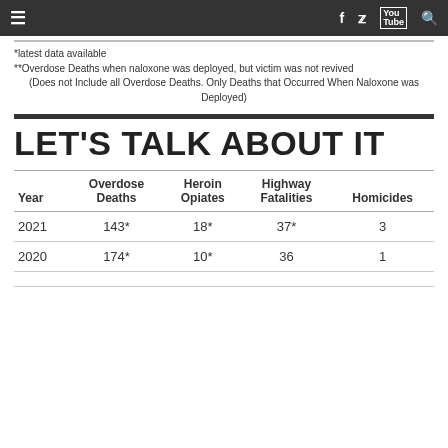≡  f  🐦  YouTube  🔍
*latest data available
**Overdose Deaths when naloxone was deployed, but victim was not revived
(Does not Include all Overdose Deaths. Only Deaths that Occurred When Naloxone was Deployed)
LET'S TALK ABOUT IT
| Year | Overdose Deaths | Heroin Opiates | Highway Fatalities | Homicides |
| --- | --- | --- | --- | --- |
| 2021 | 143* | 18* | 37* | 3 |
| 2020 | 174* | 10* | 36 | 1 |